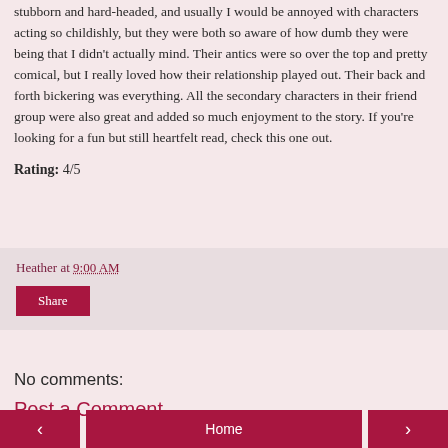stubborn and hard-headed, and usually I would be annoyed with characters acting so childishly, but they were both so aware of how dumb they were being that I didn't actually mind. Their antics were so over the top and pretty comical, but I really loved how their relationship played out. Their back and forth bickering was everything. All the secondary characters in their friend group were also great and added so much enjoyment to the story. If you're looking for a fun but still heartfelt read, check this one out.
Rating: 4/5
Heather at 9:00 AM
Share
No comments:
Post a Comment
< Home >